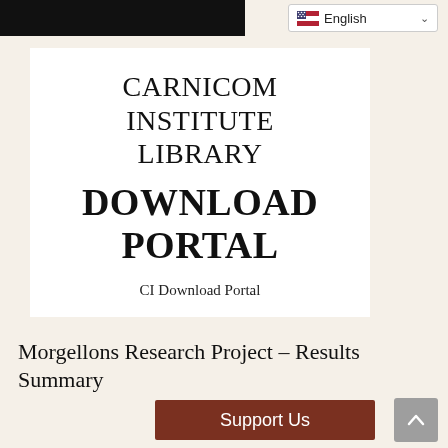English
CARNICOM INSTITUTE LIBRARY DOWNLOAD PORTAL
CI Download Portal
Morgellons Research Project – Results Summary
Support Us